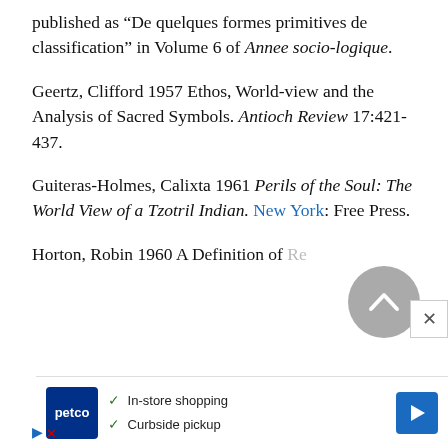published as “De quelques formes primitives de classification” in Volume 6 of Annee socio-logique.
Geertz, Clifford 1957 Ethos, World-view and the Analysis of Sacred Symbols. Antioch Review 17:421-437.
Guiteras-Holmes, Calixta 1961 Perils of the Soul: The World View of a Tzotril Indian. New York: Free Press.
Horton, Robin 1960 A Definition of Religion, and its Uses.